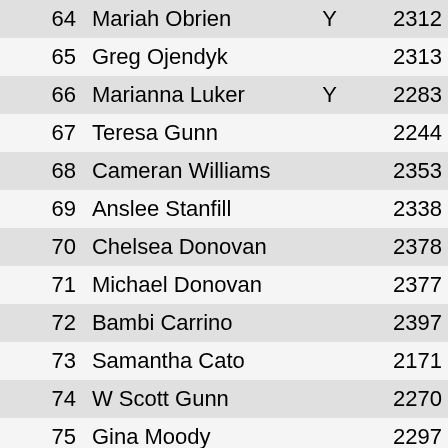| # | Name | Y | Score |
| --- | --- | --- | --- |
| 64 | Mariah Obrien | Y | 2312 |
| 65 | Greg Ojendyk |  | 2313 |
| 66 | Marianna Luker | Y | 2283 |
| 67 | Teresa Gunn |  | 2244 |
| 68 | Cameran Williams |  | 2353 |
| 69 | Anslee Stanfill |  | 2338 |
| 70 | Chelsea Donovan |  | 2378 |
| 71 | Michael Donovan |  | 2377 |
| 72 | Bambi Carrino |  | 2397 |
| 73 | Samantha Cato |  | 2171 |
| 74 | W Scott Gunn |  | 2270 |
| 75 | Gina Moody |  | 2297 |
| 76 | Ken Burkus |  | 2383 |
| 77 | Hayley Batchelor | Y | 2388 |
| 78 | Logan Freymoyer |  | 2223 |
| 79 | Adam Rupert |  | 2326 |
| 80 | Katelyn McCall |  | 2289 |